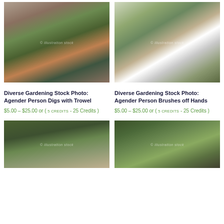[Figure (photo): Person with teal/green hair, glasses, plaid shirt, digging in garden soil with a trowel, kneeling on ground with pink flowers]
[Figure (photo): Person with teal/green hair, glasses, plaid shirt, sitting near white flowering shrub, brushing off hands]
Diverse Gardening Stock Photo: Agender Person Digs with Trowel
$5.00 – $25.00 or ( 5 CREDITS - 25 Credits )
Diverse Gardening Stock Photo: Agender Person Brushes off Hands
$5.00 – $25.00 or ( 5 CREDITS - 25 Credits )
[Figure (photo): Close-up of person in plaid shirt kneeling among green plants and foliage]
[Figure (photo): Close-up of person in blue jeans among green plants and foliage]